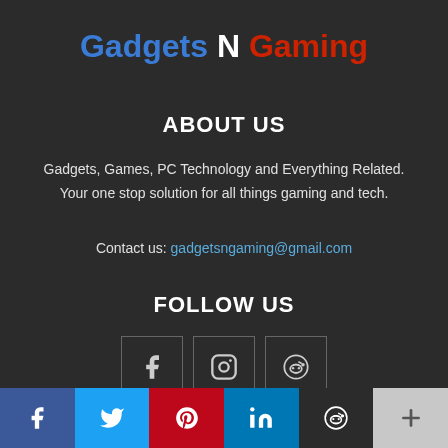Gadgets N Gaming
ABOUT US
Gadgets, Games, PC Technology and Everything Related. Your one stop solution for all things gaming and tech.
Contact us: gadgetsngaming@gmail.com
FOLLOW US
[Figure (infographic): Three social media icon boxes: Facebook (f), Instagram (camera), Reddit (alien logo)]
[Figure (infographic): Bottom social sharing bar with Facebook (blue), Twitter (light blue), Pinterest (red), LinkedIn (dark blue), Reddit (dark), and plus/more (grey) buttons]